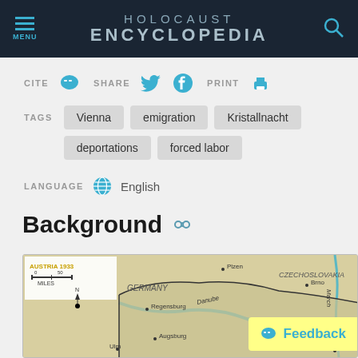HOLOCAUST ENCYCLOPEDIA
CITE  SHARE  PRINT
TAGS: Vienna  emigration  Kristallnacht  deportations  forced labor
LANGUAGE  English
Background
[Figure (map): Map of Austria 1933 showing surrounding countries including Germany, Czechoslovakia, and cities such as Plzen, Brno, Regensburg, Augsburg, Ulm, Linz, Bratislava, with the Danube river marked]